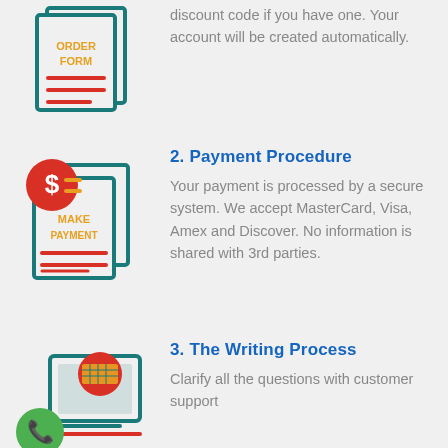[Figure (illustration): Order form icon: teal document pages with orange text 'ORDER FORM' and red horizontal lines]
discount code if you have one. Your account will be created automatically.
[Figure (illustration): Payment icon: teal document pages with orange text 'MAKE PAYMENT', red lines, and red circle with dollar sign]
2. Payment Procedure
Your payment is processed by a secure system. We accept MasterCard, Visa, Amex and Discover. No information is shared with 3rd parties.
[Figure (illustration): Writing process icon: teal computer/typewriter with red circle keyboard, green phone bubble icon]
3. The Writing Process
Clarify all the questions with customer support